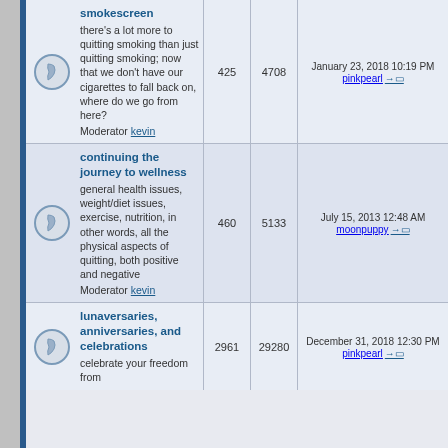|  | Forum | Threads | Posts | Last Post |
| --- | --- | --- | --- | --- |
| icon | smokescreen
there's a lot more to quitting smoking than just quitting smoking; now that we don't have our cigarettes to fall back on, where do we go from here?
Moderator kevin | 425 | 4708 | January 23, 2018 10:19 PM
pinkpearl → |
| icon | continuing the journey to wellness
general health issues, weight/diet issues, exercise, nutrition, in other words, all the physical aspects of quitting, both positive and negative
Moderator kevin | 460 | 5133 | July 15, 2013 12:48 AM
moonpuppy → |
| icon | lunaversaries, anniversaries, and celebrations
celebrate your freedom from | 2961 | 29280 | December 31, 2018 12:30 PM
pinkpearl → |